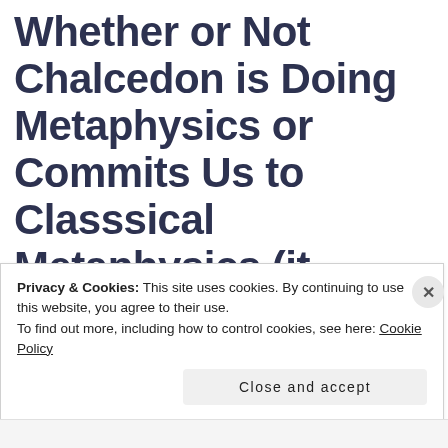Whether or Not Chalcedon is Doing Metaphysics or Commits Us to Classsical Metaphysics (it probably
Privacy & Cookies: This site uses cookies. By continuing to use this website, you agree to their use.
To find out more, including how to control cookies, see here: Cookie Policy
Close and accept